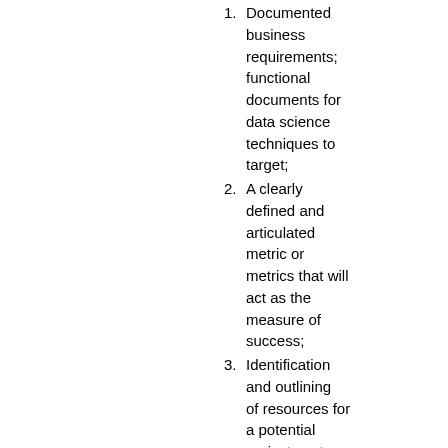1. Documented business requirements; functional documents for data science techniques to target;
2. A clearly defined and articulated metric or metrics that will act as the measure of success;
3. Identification and outlining of resources for a potential project post assessment i.e. data sources,